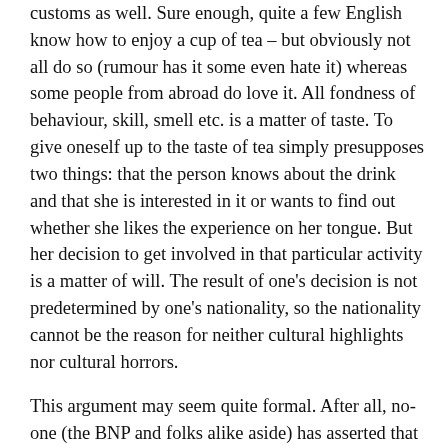customs as well. Sure enough, quite a few English know how to enjoy a cup of tea – but obviously not all do so (rumour has it some even hate it) whereas some people from abroad do love it. All fondness of behaviour, skill, smell etc. is a matter of taste. To give oneself up to the taste of tea simply presupposes two things: that the person knows about the drink and that she is interested in it or wants to find out whether she likes the experience on her tongue. But her decision to get involved in that particular activity is a matter of will. The result of one's decision is not predetermined by one's nationality, so the nationality cannot be the reason for neither cultural highlights nor cultural horrors.
This argument may seem quite formal. After all, no-one (the BNP and folks alike aside) has asserted that all members of a nation share all of the qualities. It would